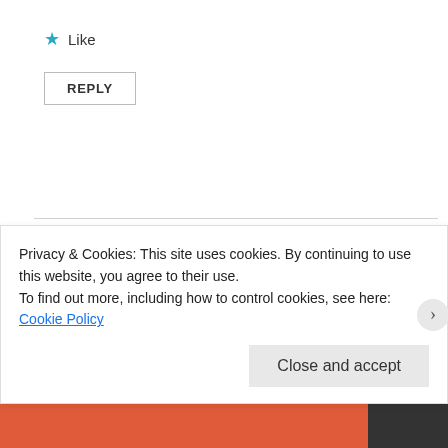★ Like
REPLY
Mitzi McColley Sorensen
March 2, 2013 at 5:10 pm
Privacy & Cookies: This site uses cookies. By continuing to use this website, you agree to their use.
To find out more, including how to control cookies, see here: Cookie Policy
Close and accept